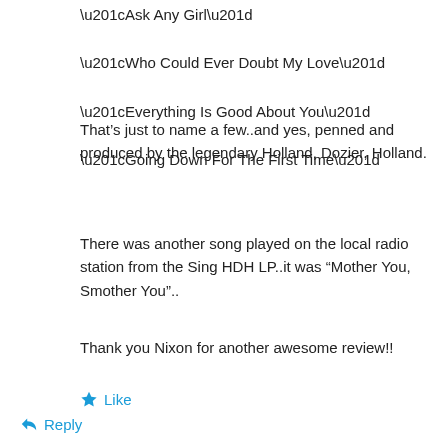“Ask Any Girl”
“Who Could Ever Doubt My Love”
“Everything Is Good About You”
“Going Down For The First Time”
That’s just to name a few..and yes, penned and produced by the legendary Holland, Dozier, Holland.
There was another song played on the local radio station from the Sing HDH LP..it was “Mother You, Smother You”..
Thank you Nixon for another awesome review!!
★ Like
↪ Reply